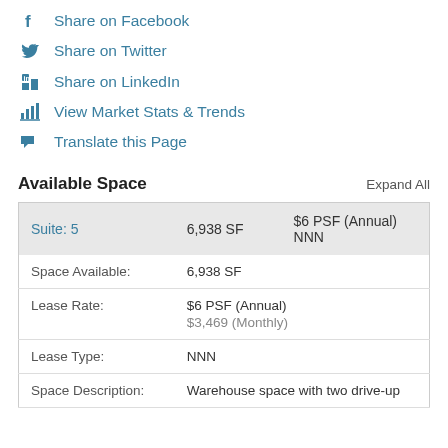Share on Facebook
Share on Twitter
Share on LinkedIn
View Market Stats & Trends
Translate this Page
Available Space
Expand All
| Suite: 5 | 6,938 SF | $6 PSF (Annual) NNN |
| --- | --- | --- |
| Space Available: | 6,938 SF |  |
| Lease Rate: | $6 PSF (Annual)
$3,469 (Monthly) |  |
| Lease Type: | NNN |  |
| Space Description: | Warehouse space with two drive-up |  |